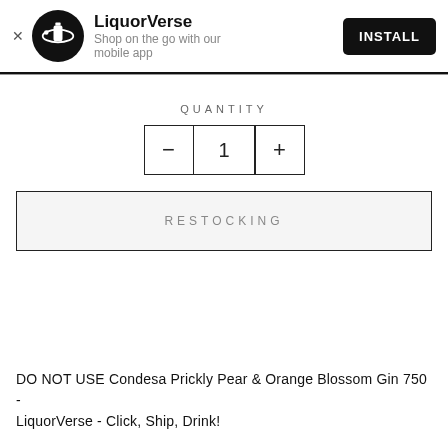LiquorVerse — Shop on the go with our mobile app — INSTALL
QUANTITY
— 1 +
RESTOCKING
DO NOT USE Condesa Prickly Pear & Orange Blossom Gin 750 - LiquorVerse - Click, Ship, Drink!